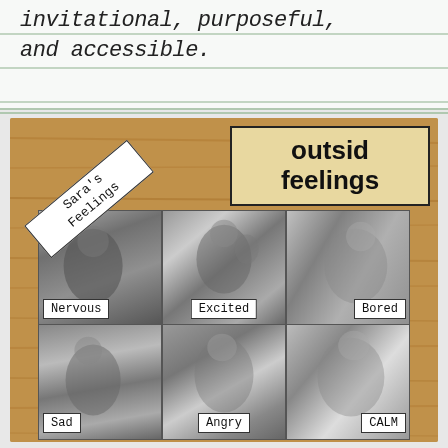invitational, purposeful, and accessible.
[Figure (photo): A photo of a feelings chart on a wooden surface. The chart is titled 'outsid feelings' and contains black and white photographs of a child displaying different emotions labeled: Nervous, Excited, Bored, Sad, Angry, CALM. A handwritten label reading "Sara's Feelings" is attached at an angle.]